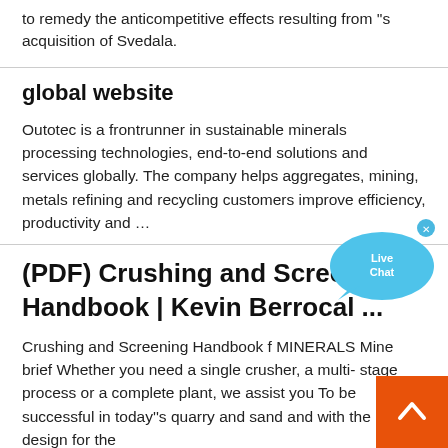to remedy the anticompetitive effects resulting from ''s acquisition of Svedala.
global website
Outotec is a frontrunner in sustainable minerals processing technologies, end-to-end solutions and services globally. The company helps aggregates, mining, metals refining and recycling customers improve efficiency, productivity and …
(PDF) Crushing and Screening Handbook | Kevin Berrocal ...
Crushing and Screening Handbook f MINERALS Mine brief Whether you need a single crusher, a multi- stage process or a complete plant, we assist you To be successful in today''s quarry and sand and with the right design for the